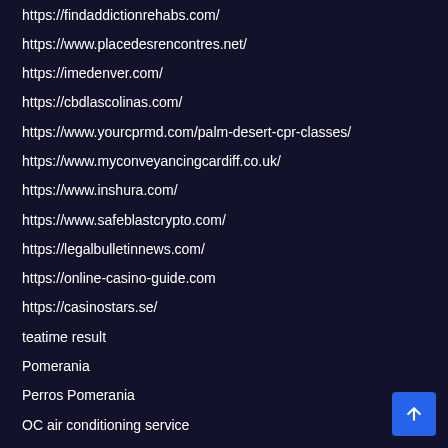https://findaddictionrehabs.com/
https://www.placedesrencontres.net/
https://imedenver.com/
https://cbdlascolinas.com/
https://www.yourcprmd.com/palm-desert-cpr-classes/
https://www.myconveyancingcardiff.co.uk/
https://www.inshura.com/
https://www.safeblastcrypto.com/
https://legalbulletinnews.com/
https://online-casino-guide.com
https://casinostars.se/
teatime result
Pomerania
Perros Pomerania
OC air conditioning service